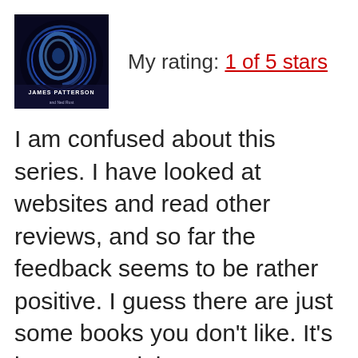[Figure (photo): Book cover of a James Patterson novel with dark blue swirling design and text 'JAMES PATTERSON and Ned Rust']
My rating: 1 of 5 stars
I am confused about this series. I have looked at websites and read other reviews, and so far the feedback seems to be rather positive. I guess there are just some books you don't like. It's just unusual, because I'm usually in sync with other people, but this time I can't be further away. I really, really do not like these books — this